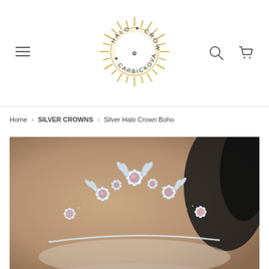[Figure (logo): Halo Crowns Carbickova circular logo with sun rays and a hand holding flowers in the center, text arranged in a circle reading HALO CROWNS CARBICKOVA with stars]
Home › SILVER CROWNS › Silver Halo Crown Boho
[Figure (photo): Close-up photograph of a Silver Halo Crown Boho — an ornate tiara with white crystal floral clusters and pink/rose pearl centers, set against a warm beige background with dark foliage]